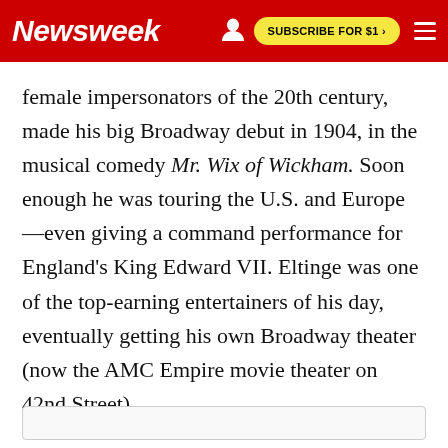Newsweek | SUBSCRIBE FOR $1 >
female impersonators of the 20th century, made his big Broadway debut in 1904, in the musical comedy Mr. Wix of Wickham. Soon enough he was touring the U.S. and Europe—even giving a command performance for England's King Edward VII. Eltinge was one of the top-earning entertainers of his day, eventually getting his own Broadway theater (now the AMC Empire movie theater on 42nd Street).